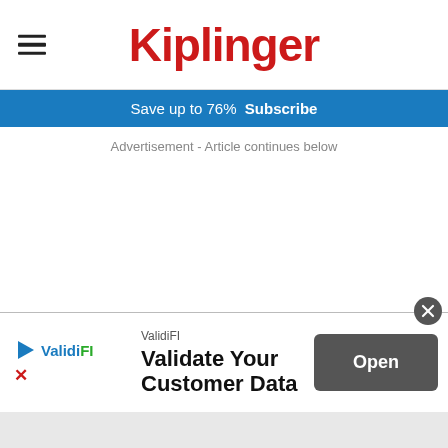Kiplinger
Save up to 76%  Subscribe
Advertisement - Article continues below
[Figure (other): ValidiFI advertisement banner with logo, tagline 'Validate Your Customer Data', and Open button]